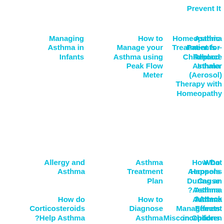Prevent It
Managing Asthma in Infants
How to Manage your Asthma using Peak Flow Meter
Homeopathic Treatment for Childhood Asthma
Asthma Patients – Replace Inhaler (Aerosol) Therapy with Homeopathy
Allergy and Asthma
Asthma Treatment Plan
How Do Aerosols Cause ?Asthma
What Happens During an Asthma ?Attack
How do Corticosteroids ?Help Asthma
Challenges of
How to Diagnose Asthma
Effects of
Asthma Effects
Misconceptions
Asthma Management in Children
Nebulizers in